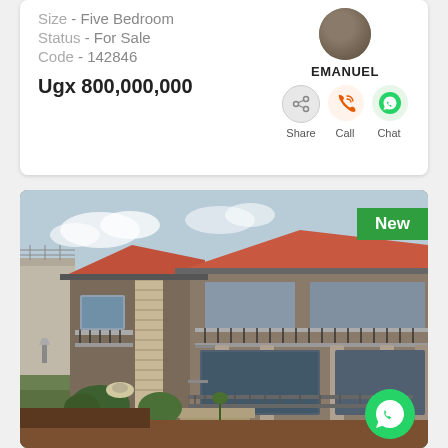Size - Five Bedroom
Status - For Sale
Code - 142846
Ugx 800,000,000
EMANUEL
Share   Call   Chat
[Figure (photo): Two-storey residential house for sale with columns, balconies, red tiled roof, stone cladding, black railings, green lawn, driveway, security wall with barbed wire. New badge in top right corner. WhatsApp button and heart/add button overlaid.]